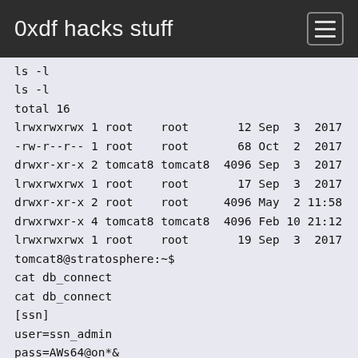0xdf hacks stuff
ls -l
ls -l
total 16
lrwxrwxrwx 1 root    root       12 Sep  3  2017
-rw-r--r-- 1 root    root       68 Oct  2  2017
drwxr-xr-x 2 tomcat8 tomcat8  4096 Sep  3  2017
lrwxrwxrwx 1 root    root       17 Sep  3  2017
drwxr-xr-x 2 root    root     4096 May  2 11:58
drwxrwxr-x 4 tomcat8 tomcat8  4096 Feb 10 21:12
lrwxrwxrwx 1 root    root       19 Sep  3  2017
tomcat8@stratosphere:~$
cat db_connect
cat db_connect
[ssn]
user=ssn_admin
pass=AWs64@on*&

[users]
user=admin